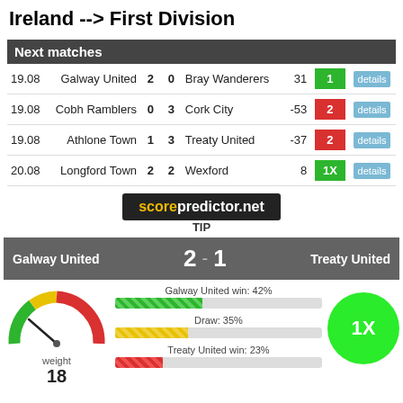Ireland --> First Division
| Date | Team 1 | Score1 | Score2 | Team 2 | Num | Tip |  |
| --- | --- | --- | --- | --- | --- | --- | --- |
| 19.08 | Galway United | 2 | 0 | Bray Wanderers | 31 | 1 | details |
| 19.08 | Cobh Ramblers | 0 | 3 | Cork City | -53 | 2 | details |
| 19.08 | Athlone Town | 1 | 3 | Treaty United | -37 | 2 | details |
| 20.08 | Longford Town | 2 | 2 | Wexford | 8 | 1X | details |
[Figure (logo): scorepredictor.net TIP logo banner]
Galway United 2 - 1 Treaty United
[Figure (infographic): Gauge meter showing weight 18, with bars: Galway United win 42%, Draw 35%, Treaty United win 23%. Green circle with 1X tip.]